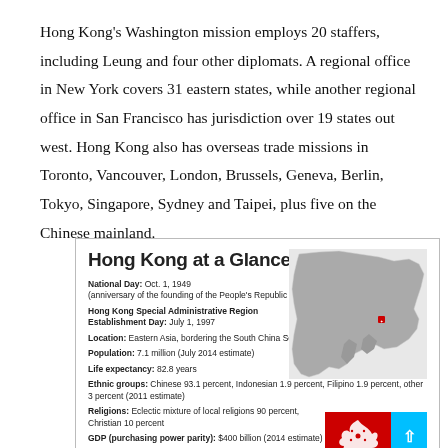Hong Kong's Washington mission employs 20 staffers, including Leung and four other diplomats. A regional office in New York covers 31 eastern states, while another regional office in San Francisco has jurisdiction over 19 states out west. Hong Kong also has overseas trade missions in Toronto, Vancouver, London, Brussels, Geneva, Berlin, Tokyo, Singapore, Sydney and Taipei, plus five on the Chinese mainland.
[Figure (infographic): Hong Kong at a Glance infographic with map of East/Southeast Asia showing Hong Kong location, facts about National Day, Hong Kong SAR Establishment Day, Location, Population, Life expectancy, Ethnic groups, Religions, GDP, and Hong Kong flag.]